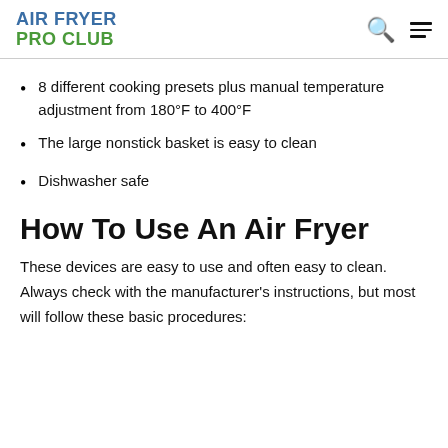AIR FRYER PRO CLUB
8 different cooking presets plus manual temperature adjustment from 180°F to 400°F
The large nonstick basket is easy to clean
Dishwasher safe
How To Use An Air Fryer
These devices are easy to use and often easy to clean. Always check with the manufacturer's instructions, but most will follow these basic procedures: